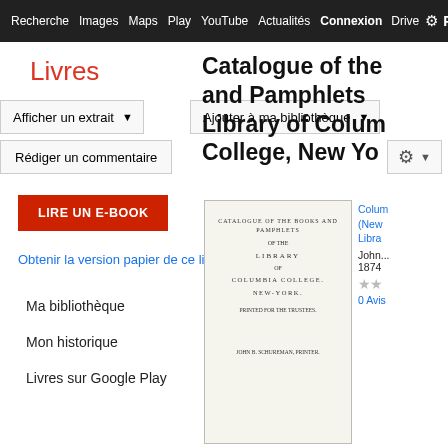Recherche  Images  Maps  Play  YouTube  Actualités  Connexion  Drive  ⚙  P
Livres
Afficher un extrait ▼
Ajouter à ma bibliothèque ▼
Rédiger un commentaire
LIRE UN E-BOOK
Obtenir la version papier de ce livre ▼
Ma bibliothèque
Mon historique
Livres sur Google Play
Catalogue of the Books and Pamphlets Library of Columbia College, New York
[Figure (photo): Thumbnail of book cover page showing text: CATALOGUE OF THE BOOKS AND PAMPHLETS / OF THE / LIBRARY / OF / COLUMBIA COLLEGE. / NEW-YORK. / PRINTED FOR THE TRUSTEES]
Columbia (New York Library
John...
1874
★★
0 Avis